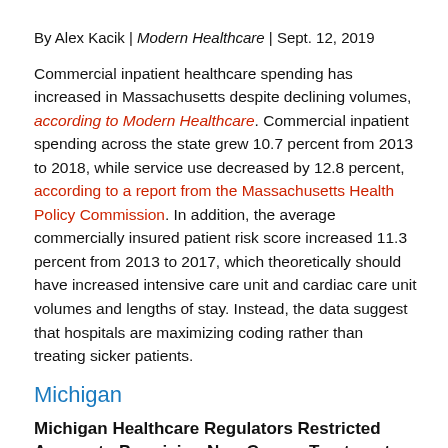By Alex Kacik | Modern Healthcare | Sept. 12, 2019
Commercial inpatient healthcare spending has increased in Massachusetts despite declining volumes, according to Modern Healthcare. Commercial inpatient spending across the state grew 10.7 percent from 2013 to 2018, while service use decreased by 12.8 percent, according to a report from the Massachusetts Health Policy Commission. In addition, the average commercially insured patient risk score increased 11.3 percent from 2013 to 2017, which theoretically should have increased intensive care unit and cardiac care unit volumes and lengths of stay. Instead, the data suggest that hospitals are maximizing coding rather than treating sicker patients.
Michigan
Michigan Healthcare Regulators Restricted Access to Promising New Cancer Treatments